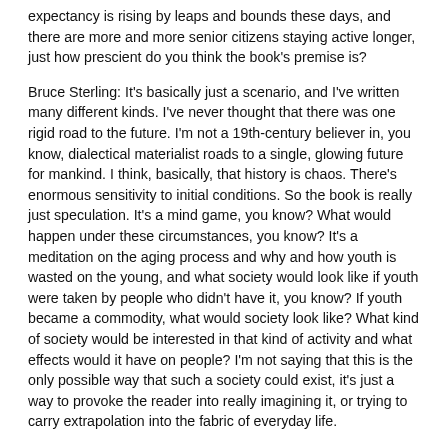expectancy is rising by leaps and bounds these days, and there are more and more senior citizens staying active longer, just how prescient do you think the book's premise is?
Bruce Sterling: It's basically just a scenario, and I've written many different kinds. I've never thought that there was one rigid road to the future. I'm not a 19th-century believer in, you know, dialectical materialist roads to a single, glowing future for mankind. I think, basically, that history is chaos. There's enormous sensitivity to initial conditions. So the book is really just speculation. It's a mind game, you know? What would happen under these circumstances, you know? It's a meditation on the aging process and why and how youth is wasted on the young, and what society would look like if youth were taken by people who didn't have it, you know? If youth became a commodity, what would society look like? What kind of society would be interested in that kind of activity and what effects would it have on people? I'm not saying that this is the only possible way that such a society could exist, it's just a way to provoke the reader into really imagining it, or trying to carry extrapolation into the fabric of everyday life.
AC: Now that you're older do you ever feel that youth was wasted on you?